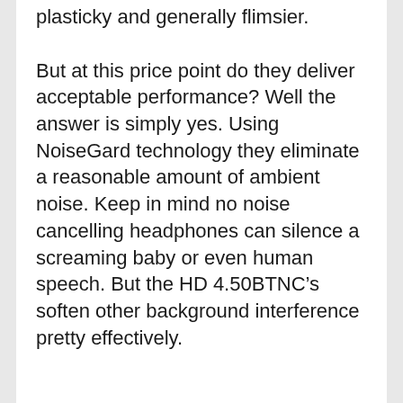plasticky and generally flimsier.
But at this price point do they deliver acceptable performance? Well the answer is simply yes. Using NoiseGard technology they eliminate a reasonable amount of ambient noise. Keep in mind no noise cancelling headphones can silence a screaming baby or even human speech. But the HD 4.50BTNC's soften other background interference pretty effectively.